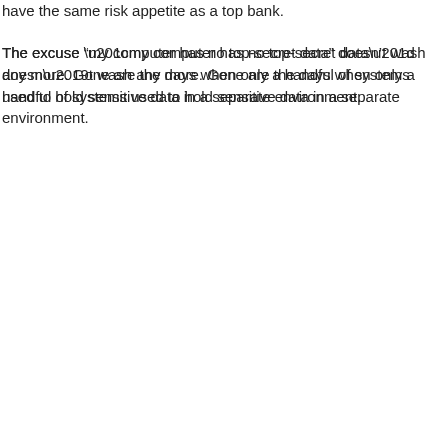have the same risk appetite as a top bank.
The excuse “my computer has no top-secret data” doesn’t wash any more. Gone are the days when only a handful of systems used to hold sensitive data in a separate environment.
So how can you improve your business’ cybersecurity posture?
[Figure (screenshot): Embedded widget error box showing 'Oops! That embed cannot be found.' with BusinessCloud logo and name.]
Endpoint Protection